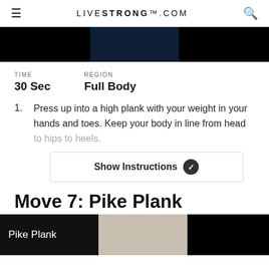LIVESTRONG.COM
[Figure (photo): Header hero image strip, dark background with center image panel]
TIME
30 Sec
REGION
Full Body
Press up into a high plank with your weight in your hands and toes. Keep your body in line from head to hips to heels.
Show Instructions
Move 7: Pike Plank
[Figure (photo): Bottom image strip showing Pike Plank exercise with dark background and center photo panel]